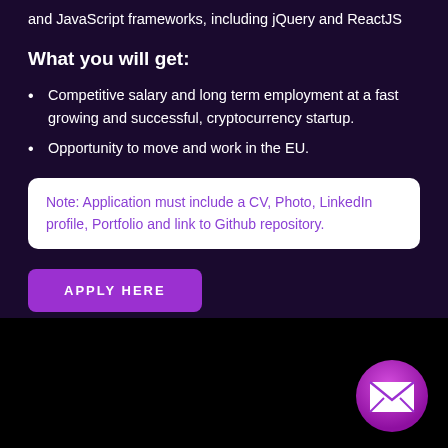and JavaScript frameworks, including jQuery and ReactJS
What you will get:
Competitive salary and long term employment at a fast growing and successful, cryptocurrency startup.
Opportunity to move and work in the EU.
Note: Application must include a CV, Photo, LinkedIn profile, Portfolio and link to Github repository.
[Figure (other): Purple 'APPLY HERE' button]
[Figure (other): Purple circular email/envelope icon button in bottom right corner]